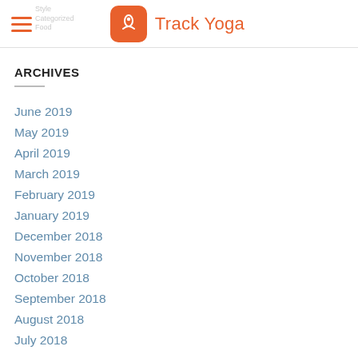Track Yoga
ARCHIVES
June 2019
May 2019
April 2019
March 2019
February 2019
January 2019
December 2018
November 2018
October 2018
September 2018
August 2018
July 2018